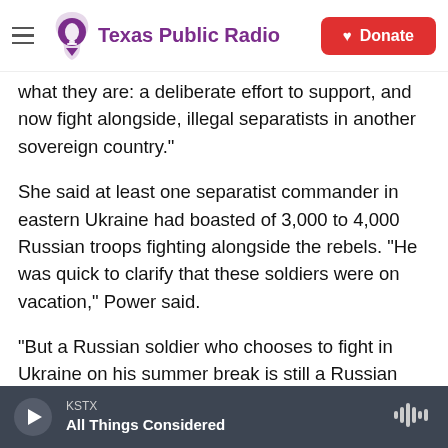Texas Public Radio | Donate
what they are: a deliberate effort to support, and now fight alongside, illegal separatists in another sovereign country."
She said at least one separatist commander in eastern Ukraine had boasted of 3,000 to 4,000 Russian troops fighting alongside the rebels. "He was quick to clarify that these soldiers were on vacation," Power said.
"But a Russian soldier who chooses to fight in Ukraine on his summer break is still a Russian soldier," she said. "And the armored Russian military vehicle he drives there is not his personal
KSTX | All Things Considered